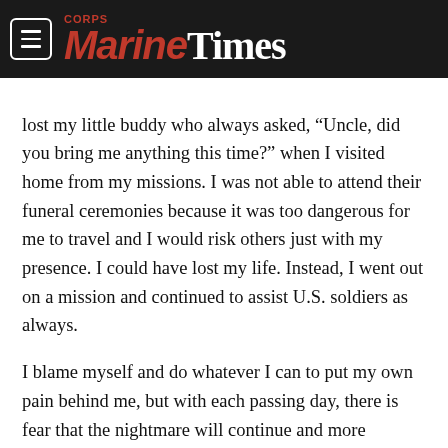Marine Corps Times
lost my little buddy who always asked, “Uncle, did you bring me anything this time?” when I visited home from my missions. I was not able to attend their funeral ceremonies because it was too dangerous for me to travel and I would risk others just with my presence. I could have lost my life. Instead, I went out on a mission and continued to assist U.S. soldiers as always.
I blame myself and do whatever I can to put my own pain behind me, but with each passing day, there is fear that the nightmare will continue and more heartbreaking news will come. Since the U.S. withdrawal, I haven’t been able to rest. I wake up every morning, hoping for news that my remaining family in